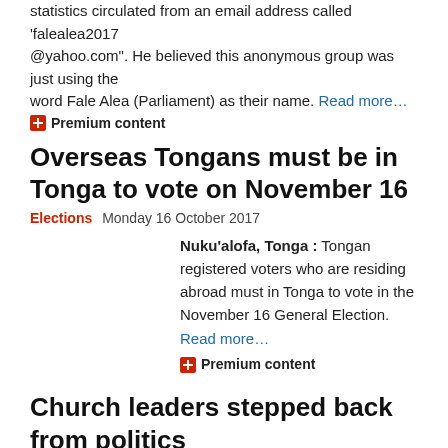statistics circulated from an email address called 'falealea2017@yahoo.com". He believed this anonymous group was just using the word Fale Alea (Parliament) as their name. Read more…
Premium content
Overseas Tongans must be in Tonga to vote on November 16
Elections  Monday 16 October 2017
Nuku'alofa, Tonga : Tongan registered voters who are residing abroad must in Tonga to vote in the November 16 General Election. Read more…
Premium content
Church leaders stepped back from politics
Politics  Thursday 5 October 2017
Nuku'alofa, Tonga : Cardinal Mafi of Tonga this week has emphasized that religious leaders should not get involved in politics. He was speaking at a a National Dialogue to 'Identify Leadership Contribution to Tonga's Journey to a Democratic Society.' Read more…
Premium content